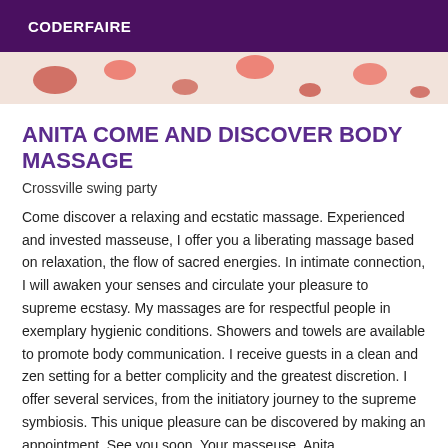CODERFAIRE
[Figure (photo): Partial photo showing floral/petal arrangement on white background, cropped at top]
ANITA COME AND DISCOVER BODY MASSAGE
Crossville swing party
Come discover a relaxing and ecstatic massage. Experienced and invested masseuse, I offer you a liberating massage based on relaxation, the flow of sacred energies. In intimate connection, I will awaken your senses and circulate your pleasure to supreme ecstasy. My massages are for respectful people in exemplary hygienic conditions. Showers and towels are available to promote body communication. I receive guests in a clean and zen setting for a better complicity and the greatest discretion. I offer several services, from the initiatory journey to the supreme symbiosis. This unique pleasure can be discovered by making an appointment. See you soon. Your masseuse, Anita